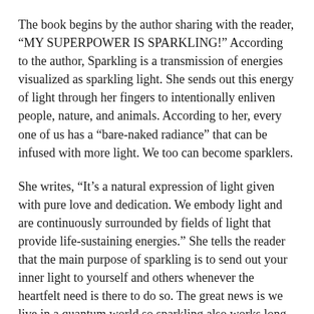The book begins by the author sharing with the reader, “MY SUPERPOWER IS SPARKLING!” According to the author, Sparkling is a transmission of energies visualized as sparkling light. She sends out this energy of light through her fingers to intentionally enliven people, nature, and animals. According to her, every one of us has a “bare-naked radiance” that can be infused with more light. We too can become sparklers.
She writes, “It’s a natural expression of light given with pure love and dedication. We embody light and are continuously surrounded by fields of light that provide life-sustaining energies.” She tells the reader that the main purpose of sparkling is to send out your inner light to yourself and others whenever the heartfelt need is there to do so. The great news is we live in a quantum world so sparkling also works long distance too!
With the sun being the source of all light on earth, she writes,”